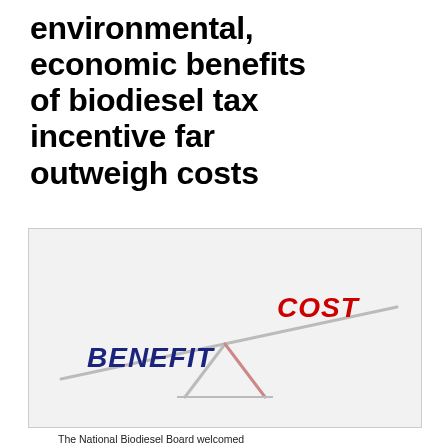environmental, economic benefits of biodiesel tax incentive far outweigh costs
[Figure (illustration): A balance/seesaw diagram showing BENEFIT (in dark blue italic text) on the left side lowered down, and COST (in red italic text) on the right side raised up, illustrating that benefits outweigh costs. The seesaw pivot is in the center with two crossed support lines.]
The National Biodiesel Board welcomed